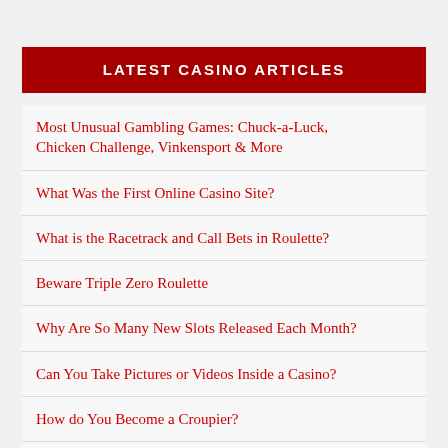LATEST CASINO ARTICLES
Most Unusual Gambling Games: Chuck-a-Luck, Chicken Challenge, Vinkensport & More
What Was the First Online Casino Site?
What is the Racetrack and Call Bets in Roulette?
Beware Triple Zero Roulette
Why Are So Many New Slots Released Each Month?
Can You Take Pictures or Videos Inside a Casino?
How do You Become a Croupier?
What is the Difference Between a Slots Site, Online…